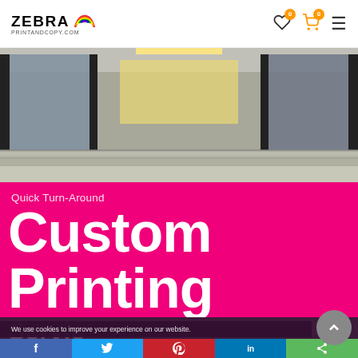ZEBRA PRINTANDCOPY.COM — navigation header with wishlist (0), cart (0), and hamburger menu
[Figure (photo): Interior corridor/hallway photo with glass panels and tiled floor, grey tones]
Quick Turn-Around
Custom Printing
We use cookies to improve your experience on our website.
Servic...
Social share bar: Facebook, Twitter, Pinterest, LinkedIn, Share